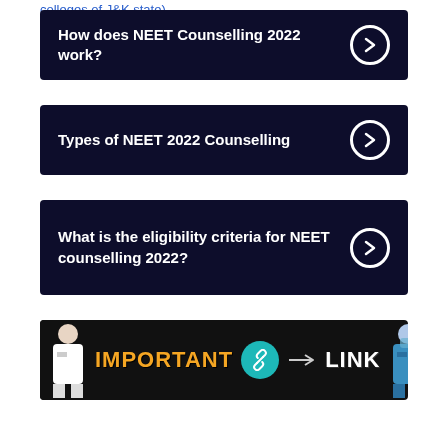colleges of J&K state).
How does NEET Counselling 2022 work?
Types of NEET 2022 Counselling
What is the eligibility criteria for NEET counselling 2022?
[Figure (infographic): Banner image with text IMPORTANT LINK with chain icon and doctor figures on both sides]